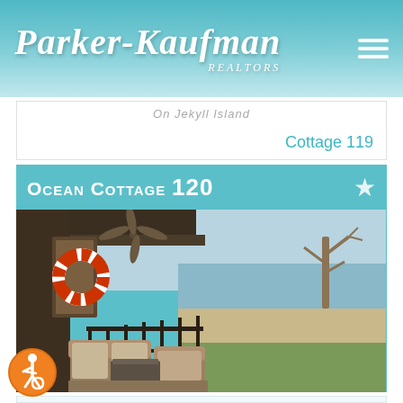Parker-Kaufman REALTORS
On Jekyll Island
Cottage 119
[Figure (photo): Ocean Cottage 120 - screened porch with wicker furniture, ceiling fan, life preserver ring on wall, ocean and beach view with dead tree in foreground]
*From $400/night
3 Bedrooms | 3.5 Bathrooms
Sleeps: 8
On Jekyll Island
Cottage 120